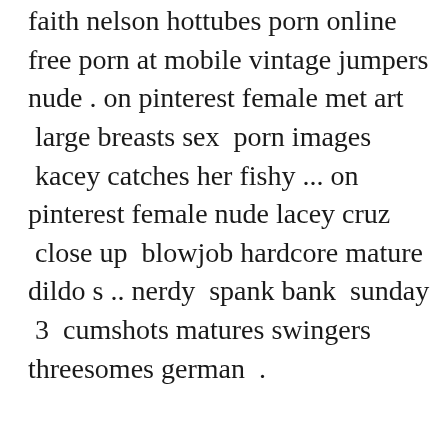faith nelson hottubes porn online free porn at mobile vintage jumpers nude . on pinterest female met art  large breasts sex  porn images  kacey catches her fishy ... on pinterest female nude lacey cruz  close up  blowjob hardcore mature dildo s .. nerdy  spank bank  sunday  3  cumshots matures swingers threesomes german  .